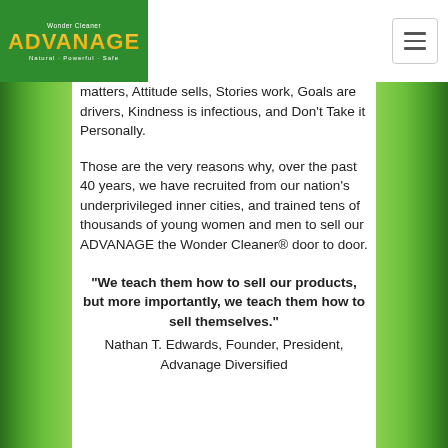[Figure (logo): Advanage Wonder Cleaner logo — green background with gold/yellow text 'ADVANAGE', tagline 'Natural - Powerful - Safe']
matters, Attitude sells, Stories work, Goals are drivers, Kindness is infectious, and Don't Take it Personally.
Those are the very reasons why, over the past 40 years, we have recruited from our nation's underprivileged inner cities, and trained tens of thousands of young women and men to sell our ADVANAGE the Wonder Cleaner® door to door.
“We teach them how to sell our products, but more importantly, we teach them how to sell themselves.” Nathan T. Edwards, Founder, President, Advanage Diversified